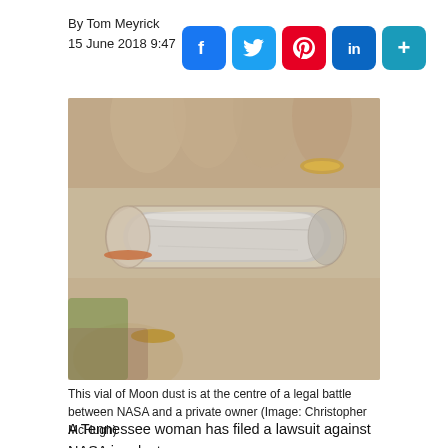By Tom Meyrick
15 June 2018 9:47
[Figure (photo): A hand holding a small cylindrical glass vial containing grey Moon dust/lunar regolith sample]
This vial of Moon dust is at the centre of a legal battle between NASA and a private owner (Image: Christopher McHugh)
A Tennessee woman has filed a lawsuit against NASA in a last